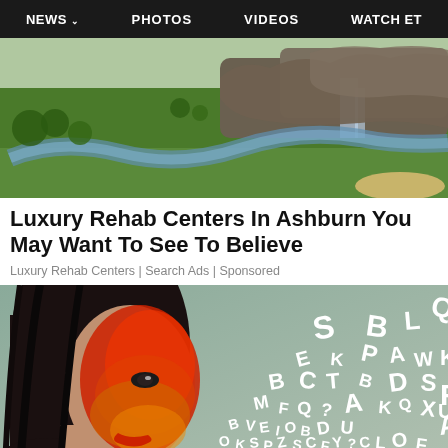NEWS  PHOTOS  VIDEOS  WATCH ET
[Figure (photo): Aerial view of a luxury resort or golf course with green lawns, a winding stream, waterfall, and rocky landscape]
Luxury Rehab Centers In Ashburn You May Want To See To Believe
Luxury Rehab Centers | Search Ads | Sponsored
[Figure (photo): Artistic photo of a woman with red/orange face paint facing right, with scattered white alphabet letters floating around her on a gray-green background]